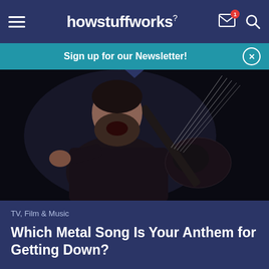howstuffworks
Sign up for our Newsletter!
[Figure (photo): A bearded man in a black leather jacket singing/screaming while playing a dark electric guitar, set against a black background. The guitar strings are dramatically stretched as he plays.]
TV, Film & Music
Which Metal Song Is Your Anthem for Getting Down?